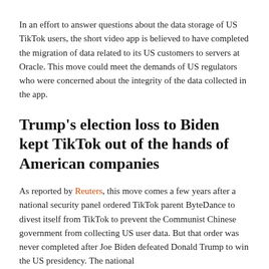In an effort to answer questions about the data storage of US TikTok users, the short video app is believed to have completed the migration of data related to its US customers to servers at Oracle. This move could meet the demands of US regulators who were concerned about the integrity of the data collected in the app.
Trump's election loss to Biden kept TikTok out of the hands of American companies
As reported by Reuters, this move comes a few years after a national security panel ordered TikTok parent ByteDance to divest itself from TikTok to prevent the Communist Chinese government from collecting US user data. But that order was never completed after Joe Biden defeated Donald Trump to win the US presidency. The national